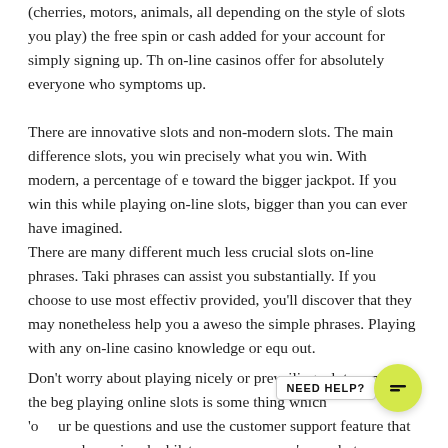(cherries, motors, animals, all depending on the style of slots you play) the free spin or cash added for your account for simply signing up. This on-line casinos offer for absolutely everyone who symptoms up.
There are innovative slots and non-modern slots. The main difference slots, you win precisely what you win. With modern, a percentage of each toward the bigger jackpot. If you win this while playing on-line slots, bigger than you can ever have imagined.
There are many different much less crucial slots on-line phrases. Taking phrases can assist you substantially. If you choose to use most effectively provided, you'll discover that they may nonetheless help you a awesome the simple phrases. Playing with any on-line casino knowledge or equivalent out.
Don't worry about playing nicely or prevailing a lot money in the beginning playing online slots is some thing which [NEED HELP?] 'o ur be questions and use the customer support feature that many the casinos and whilst you assume you're ready to move up to a higher bet, achie